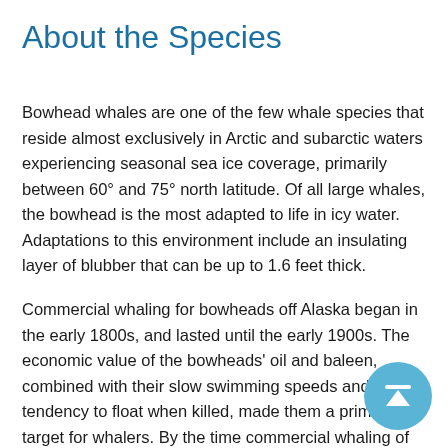About the Species
Bowhead whales are one of the few whale species that reside almost exclusively in Arctic and subarctic waters experiencing seasonal sea ice coverage, primarily between 60° and 75° north latitude. Of all large whales, the bowhead is the most adapted to life in icy water. Adaptations to this environment include an insulating layer of blubber that can be up to 1.6 feet thick.
Commercial whaling for bowheads off Alaska began in the early 1800s, and lasted until the early 1900s. The economic value of the bowheads' oil and baleen, combined with their slow swimming speeds and tendency to float when killed, made them a prime target for whalers. By the time commercial whaling of bowheads effectively ended in 1921, the worldwide bowhead abundance had declined to less than 3,000 whales. Today, bowhead whales may still be threatened by loss of food sources,